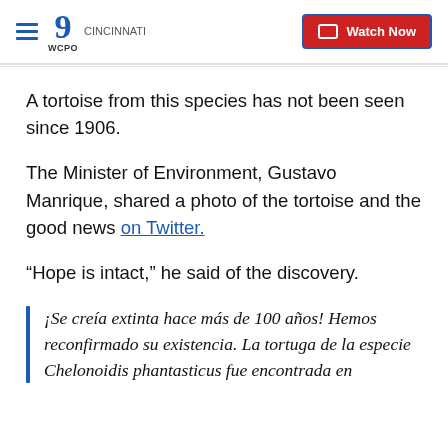WCPO 9 Cincinnati — Watch Now
A tortoise from this species has not been seen since 1906.
The Minister of Environment, Gustavo Manrique, shared a photo of the tortoise and the good news on Twitter.
“Hope is intact,” he said of the discovery.
¡Se creía extinta hace más de 100 años! Hemos reconfirmado su existencia. La tortuga de la especie Chelonoidis phantasticus fue encontrada en